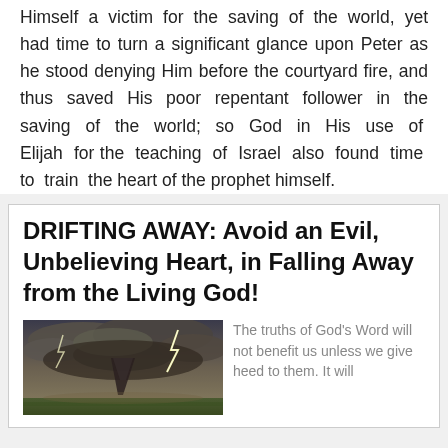Himself a victim for the saving of the world, yet had time to turn a significant glance upon Peter as he stood denying Him before the courtyard fire, and thus saved His poor repentant follower in the saving of the world; so God in His use of Elijah for the teaching of Israel also found time to train the heart of the prophet himself.
DRIFTING AWAY: Avoid an Evil, Unbelieving Heart, in Falling Away from the Living God!
[Figure (photo): Dark stormy sky with tornado and lightning over a green field]
The truths of God's Word will not benefit us unless we give heed to them. It will